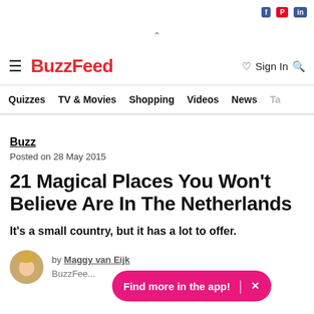BuzzFeed — Quizzes  TV & Movies  Shopping  Videos  News  Ta...
Buzz
Posted on 28 May 2015
21 Magical Places You Won't Believe Are In The Netherlands
It's a small country, but it has a lot to offer.
by Maggy van Eijk
BuzzFeed...
Find more in the app!